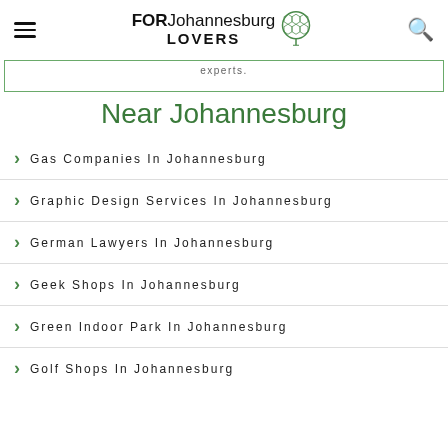FOR Johannesburg LOVERS
experts.
Near Johannesburg
Gas Companies In Johannesburg
Graphic Design Services In Johannesburg
German Lawyers In Johannesburg
Geek Shops In Johannesburg
Green Indoor Park In Johannesburg
Golf Shops In Johannesburg